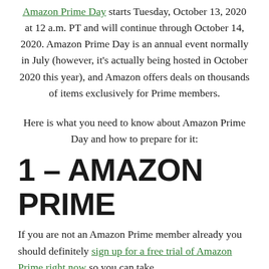Amazon Prime Day starts Tuesday, October 13, 2020 at 12 a.m. PT and will continue through October 14, 2020. Amazon Prime Day is an annual event normally in July (however, it's actually being hosted in October 2020 this year), and Amazon offers deals on thousands of items exclusively for Prime members.
Here is what you need to know about Amazon Prime Day and how to prepare for it:
1 – AMAZON PRIME
If you are not an Amazon Prime member already you should definitely sign up for a free trial of Amazon Prime right now so you can take